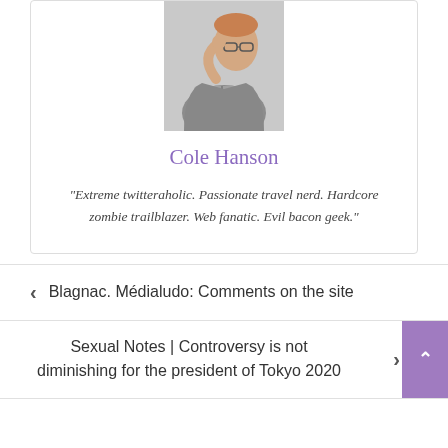[Figure (photo): Profile photo of a man with glasses, hand raised to head, wearing a plaid shirt and gray jacket, on a light gray background]
Cole Hanson
“Extreme twitteraholic. Passionate travel nerd. Hardcore zombie trailblazer. Web fanatic. Evil bacon geek.”
< Blagnac. Médialudo: Comments on the site
Sexual Notes | Controversy is not diminishing for the president of Tokyo 2020 >